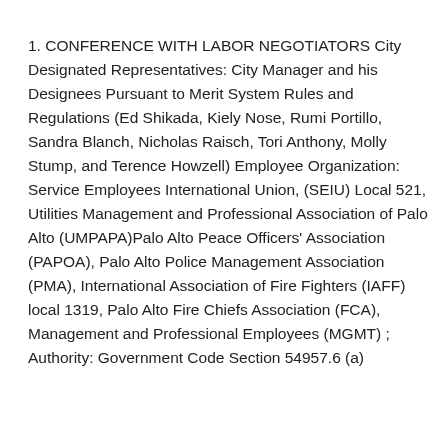1. CONFERENCE WITH LABOR NEGOTIATORS City Designated Representatives: City Manager and his Designees Pursuant to Merit System Rules and Regulations (Ed Shikada, Kiely Nose, Rumi Portillo, Sandra Blanch, Nicholas Raisch, Tori Anthony, Molly Stump, and Terence Howzell) Employee Organization: Service Employees International Union, (SEIU) Local 521, Utilities Management and Professional Association of Palo Alto (UMPAPA)Palo Alto Peace Officers' Association (PAPOA), Palo Alto Police Management Association (PMA), International Association of Fire Fighters (IAFF) local 1319, Palo Alto Fire Chiefs Association (FCA), Management and Professional Employees (MGMT) ; Authority: Government Code Section 54957.6 (a)